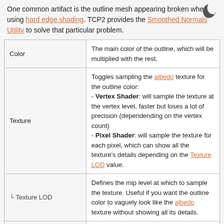One common artifact is the outline mesh appearing broken when using hard edge shading. TCP2 provides the Smoothed Normals Utility to solve that particular problem.
| Property | Description |
| --- | --- |
| Color | The main color of the outline, which will be multiplied with the rest. |
| Texture | Toggles sampling the albedo texture for the outline color:
- Vertex Shader: will sample the texture at the vertex level, faster but loses a lot of precision (dependending on the vertex count)
- Pixel Shader: will sample the texture for each pixel, which can show all the texture's details depending on the Texture LOD value. |
| └ Texture LOD | Defines the mip level at which to sample the texture. Useful if you want the outline color to vaguely look like the albedo texture without showing all its details. |
| Width | Defines the base size of the outline. |
| (partial) | Defines how the outline size should behave in screen-space:
- Disabled: don't apply any correction
- Constant: the outline will always have the defined width in pixels on the screen |